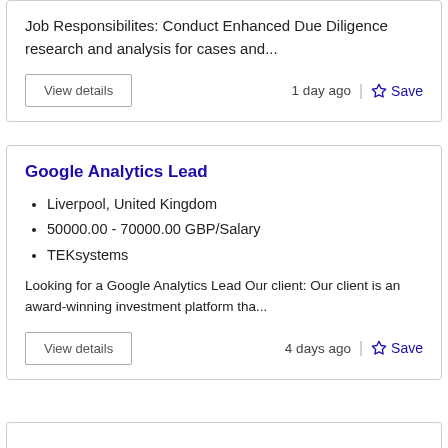Job Responsibilites: Conduct Enhanced Due Diligence research and analysis for cases and...
1 day ago
Save
Google Analytics Lead
Liverpool, United Kingdom
50000.00 - 70000.00 GBP/Salary
TEKsystems
Looking for a Google Analytics Lead Our client: Our client is an award-winning investment platform tha...
4 days ago
Save